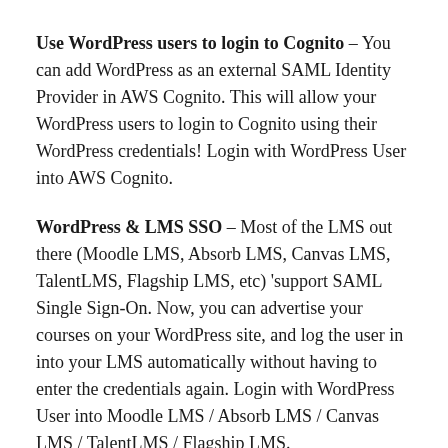Use WordPress users to login to Cognito – You can add WordPress as an external SAML Identity Provider in AWS Cognito. This will allow your WordPress users to login to Cognito using their WordPress credentials! Login with WordPress User into AWS Cognito.
WordPress & LMS SSO – Most of the LMS out there (Moodle LMS, Absorb LMS, Canvas LMS, TalentLMS, Flagship LMS, etc) 'support SAML Single Sign-On. Now, you can advertise your courses on your WordPress site, and log the user in into your LMS automatically without having to enter the credentials again. Login with WordPress User into Moodle LMS / Absorb LMS / Canvas LMS / TalentLMS / Flagship LMS.
WordPress Salesforce Object Sync – Sync WordPress data with Salesforce data using Object